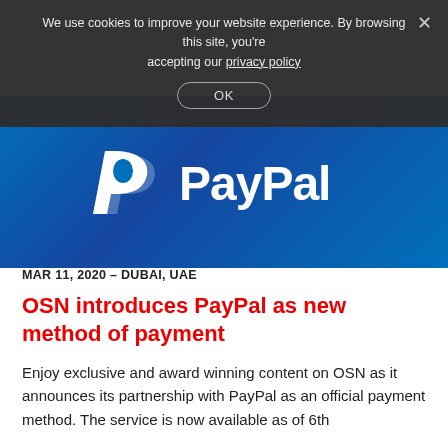We use cookies to improve your website experience. By browsing this site, you're accepting our privacy policy
OK
[Figure (logo): PayPal logo — white PayPal wordmark with stylized 'P' icon on a blue gradient background]
MAR 11, 2020 – DUBAI, UAE
OSN introduces PayPal as new method of payment
Enjoy exclusive and award winning content on OSN as it announces its partnership with PayPal as an official payment method. The service is now available as of 6th